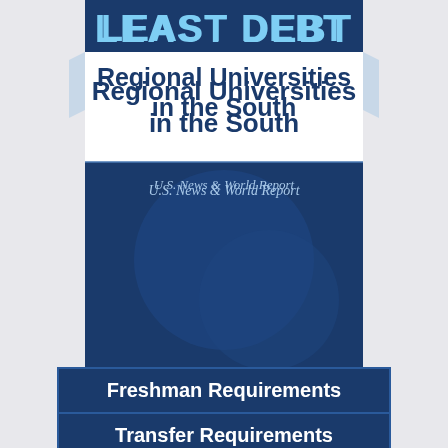LEAST DEBT
Regional Universities in the South
U.S. News & World Report
Freshman Requirements
Transfer Requirements